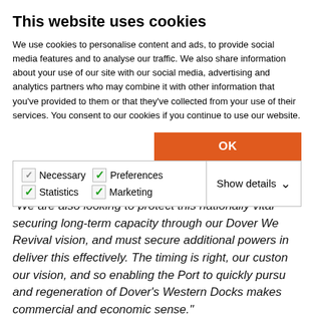This website uses cookies
We use cookies to personalise content and ads, to provide social media features and to analyse our traffic. We also share information about your use of our site with our social media, advertising and analytics partners who may combine it with other information that you've provided to them or that they've collected from your use of their services. You consent to our cookies if you continue to use our website.
OK
Necessary  Preferences  Statistics  Marketing  Show details
"We are also looking to protect this nationally vital... securing long-term capacity through our Dover Western Revival vision, and must secure additional powers in... deliver this effectively. The timing is right, our customers... our vision, and so enabling the Port to quickly pursue... and regeneration of Dover's Western Docks makes commercial and economic sense."
Andrew Meaney, Managing Consultant of Oxera,